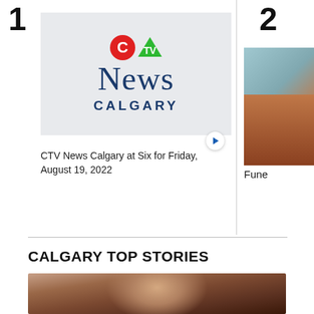1
2
[Figure (logo): CTV News Calgary logo with red circle C, green triangle TV mark, News in serif, Calgary in uppercase sans-serif]
[Figure (photo): Partially visible photo with warm orange/teal tones on the right card]
CTV News Calgary at Six for Friday, August 19, 2022
Fune
CALGARY TOP STORIES
[Figure (photo): Close-up portrait of a dark-haired woman with makeup looking upward]